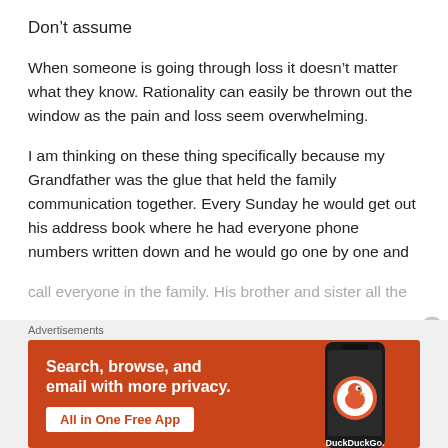Don’t assume
When someone is going through loss it doesn’t matter what they know. Rationality can easily be thrown out the window as the pain and loss seem overwhelming.
I am thinking on these thing specifically because my Grandfather was the glue that held the family communication together. Every Sunday he would get out his address book where he had everyone phone numbers written down and he would go one by one and call everyone in the family. His brother and sister all the
[Figure (screenshot): DuckDuckGo advertisement banner with orange background. Text reads: Search, browse, and email with more privacy. All in One Free App. Shows a phone with DuckDuckGo logo.]